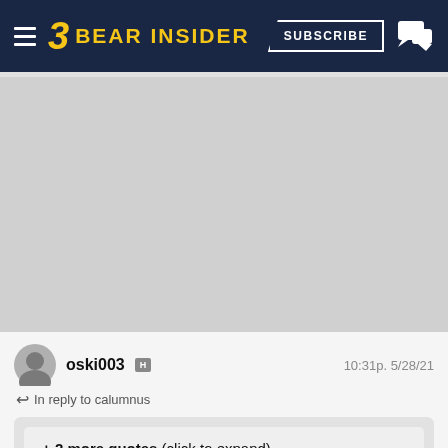BEAR INSIDER — SUBSCRIBE
[Figure (other): Gray placeholder/advertisement area below the Bear Insider navigation header]
oski003  H  10:31p. 5/28/21
In reply to calumnus
+ 2 more quotes (click to expand)